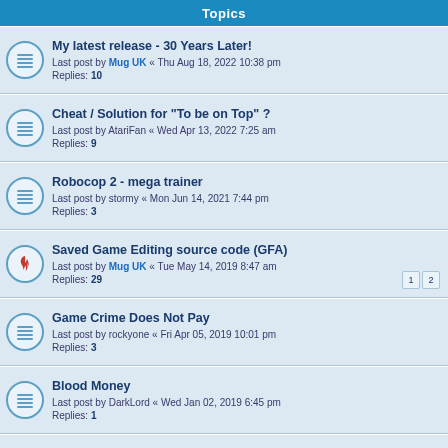Topics
My latest release - 30 Years Later!
Last post by Mug UK « Thu Aug 18, 2022 10:38 pm
Replies: 10
Cheat / Solution for "To be on Top" ?
Last post by AtariFan « Wed Apr 13, 2022 7:25 am
Replies: 9
Robocop 2 - mega trainer
Last post by stormy « Mon Jun 14, 2021 7:44 pm
Replies: 3
Saved Game Editing source code (GFA)
Last post by Mug UK « Tue May 14, 2019 8:47 am
Replies: 29
Game Crime Does Not Pay
Last post by rockyone « Fri Apr 05, 2019 10:01 pm
Replies: 3
Blood Money
Last post by DarkLord « Wed Jan 02, 2019 6:45 pm
Replies: 1
Hitch Hikers Guide To The Galaxy - Hints/Solution Scan
Last post by siriushardware « Tue Jul 10, 2018 4:38 pm
Replies: 5
Gunship trainer
Last post by millap « Thu Jul 05, 2018 4:53 pm
Replies: 9
Armour - Geddon rebalancer?